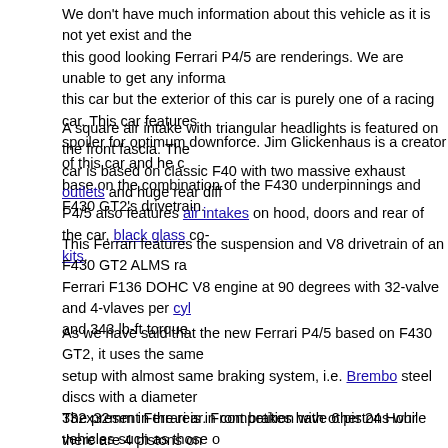We don't have much information about this vehicle as it is not yet exist and the this good looking Ferrari P4/5 are renderings. We are unable to get any informa this car but the exterior of this car is purely one of a racing car. This car features spoiler for optimum downforce. Jim Glickenhaus is a creator of this car and he c base on the combination of the F430 underpinnings and F430 GT2's drivetrain.
A square air intake with triangular headlights is featured on the front fascia. The car is based on classic F40 with two massive exhaust outlets and huge rear diff P4/5 also features air intakes on hood, doors and rear of the car, black glass co- kits.
This Ferrari features the suspension and V8 drivetrain of an F430 GT2 ALMS ra Ferrari F136 DOHC V8 engine at 90 degrees with 32-valve and 4-vlaves per cyl and 343 lb-ft torque.
As we have said that the new Ferrari P4/5 based on F430 GT2, it uses the same setup with almost same braking system, i.e. Brembo steel discs with a diameter 332x32mm in the rear. Front brakes have 6 pistons while there are 4 pistons on be adjustable.
The present Ferrari is in competition with other 24 Hour vehicles such as those The team of Ferrari P4/5 hopes that the car will be available in the first quarter o
Further Readings:
Ferrari 430 2dr coupe Scuderia Technical Specifications